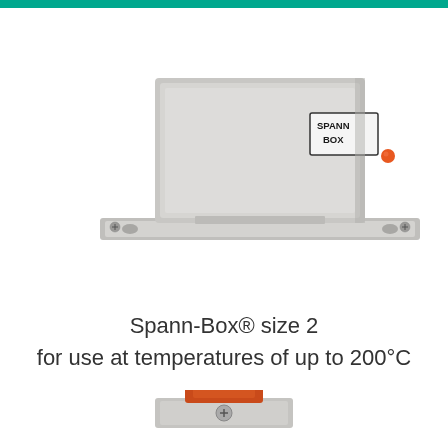[Figure (photo): Spann-Box size 2 mechanical device, metallic silver/gray housing with orange LED indicator dot, mounted on a base plate with mounting holes, shown against a white background. A menu icon (hamburger button) visible in top-right corner.]
Spann-Box® size 2
for use at temperatures of up to 200°C
[Figure (photo): Close-up of a Spann-Box size 2 component showing a large orange semi-circular dome/cap sitting on a metallic plate, with orange rectangular body/housing below it mounted on a silver metal base bracket with a visible screw.]